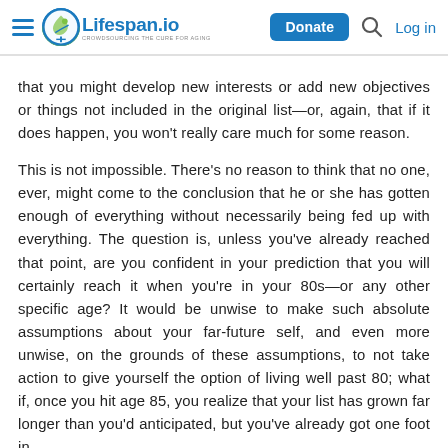Lifespan.io — CROWDSOURCING THE CURE FOR AGING | Donate | Log in
that you might develop new interests or add new objectives or things not included in the original list—or, again, that if it does happen, you won't really care much for some reason.
This is not impossible. There's no reason to think that no one, ever, might come to the conclusion that he or she has gotten enough of everything without necessarily being fed up with everything. The question is, unless you've already reached that point, are you confident in your prediction that you will certainly reach it when you're in your 80s—or any other specific age? It would be unwise to make such absolute assumptions about your far-future self, and even more unwise, on the grounds of these assumptions, to not take action to give yourself the option of living well past 80; what if, once you hit age 85, you realize that your list has grown far longer than you'd anticipated, but you've already got one foot in